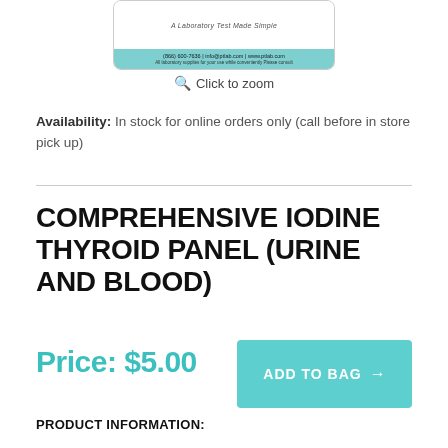[Figure (screenshot): Product image thumbnail showing a laboratory test kit box with 'A Laboratory Test Made Simple' text and teal/cyan contact information strip at the bottom]
Click to zoom
Availability: In stock for online orders only (call before in store pick up)
COMPREHENSIVE IODINE THYROID PANEL (URINE AND BLOOD)
Price: $5.00
ADD TO BAG →
PRODUCT INFORMATION: